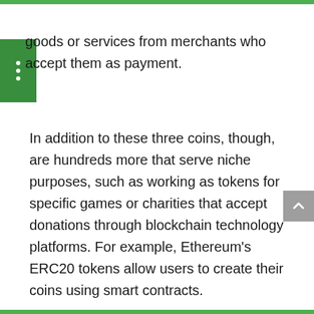goods or services from merchants who accept them as payment.
In addition to these three coins, though, are hundreds more that serve niche purposes, such as working as tokens for specific games or charities that accept donations through blockchain technology platforms. For example, Ethereum's ERC20 tokens allow users to create their coins using smart contracts.
Cryptocurrency is a Part of the Future
Cryptocurrency is an exciting new form of currency with many benefits and drawbacks. There are many